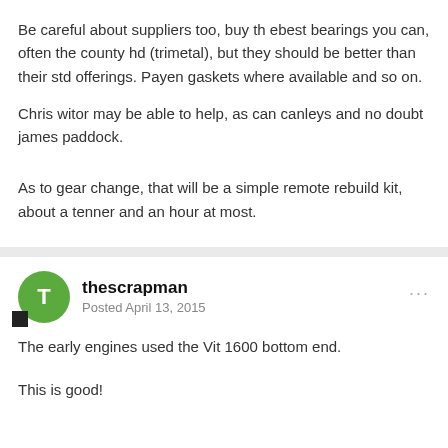Be careful about suppliers too, buy th ebest bearings you can, often the county hd (trimetal), but they should be better than their std offerings. Payen gaskets where available and so on.
Chris witor may be able to help, as can canleys and no doubt james paddock.
As to gear change, that will be a simple remote rebuild kit, about a tenner and an hour at most.
thescrapman
Posted April 13, 2015
The early engines used the Vit 1600 bottom end.
This is good!